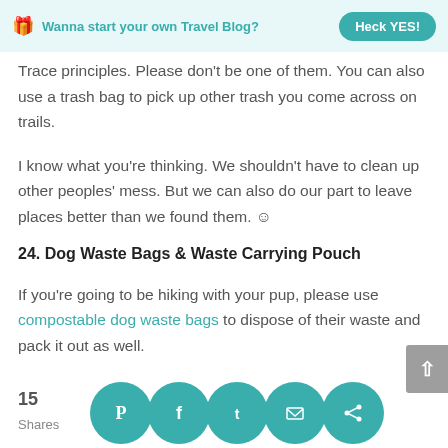Wanna start your own Travel Blog? Heck YES!
Trace principles. Please don't be one of them. You can also use a trash bag to pick up other trash you come across on trails.
I know what you're thinking. We shouldn't have to clean up other peoples' mess. But we can also do our part to leave places better than we found them. ☺
24. Dog Waste Bags & Waste Carrying Pouch
If you're going to be hiking with your pup, please use compostable dog waste bags to dispose of their waste and pack it out as well.
[Figure (infographic): Social share bar with Pinterest, Facebook, Twitter, Email, and Share icons in teal circles, showing 15 Shares count]